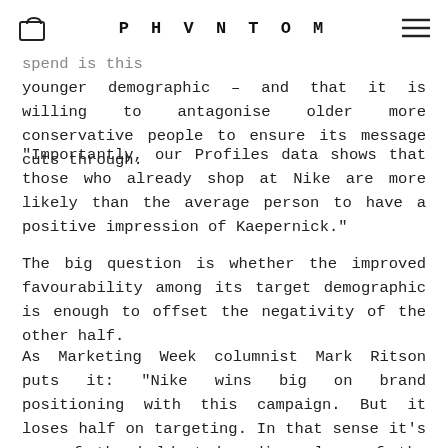PHVNTOM
that Nike is successfully speaking to its target audience – the future of sportswear spend is this younger demographic – and that it is willing to antagonise older more conservative people to ensure its message cuts through.
“Importantly, our Profiles data shows that those who already shop at Nike are more likely than the average person to have a positive impression of Kaepernick.”
The big question is whether the improved favourability among its target demographic is enough to offset the negativity of the other half.
As Marketing Week columnist Mark Ritson puts it: “Nike wins big on brand positioning with this campaign. But it loses half on targeting. In that sense it’s one of the boldest branding plays of the year. The big